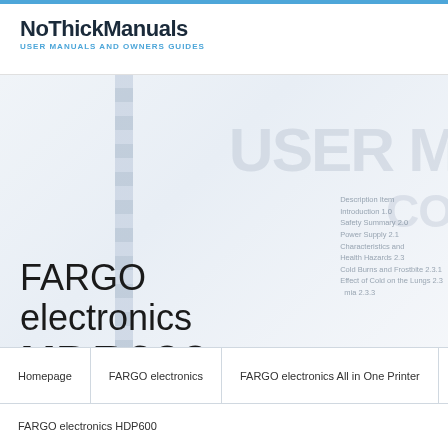NoThickManuals
USER MANUALS AND OWNERS GUIDES
[Figure (other): Background image of an open user manual binder with table of contents visible, watermarked appearance]
FARGO electronics
HDP600
View or download the device manual FARGO electronics HDP600
Homepage | FARGO electronics | FARGO electronics All in One Printer | FARGO electronics HDP600